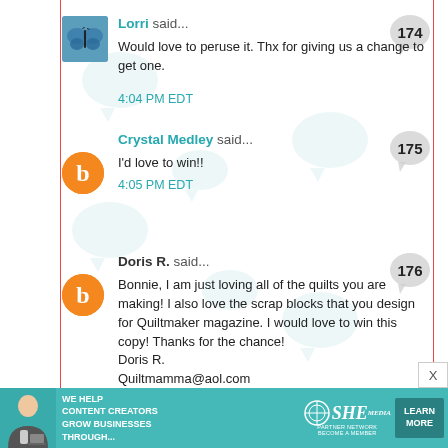Lorri said... [174] Would love to peruse it. Thx for giving us a change to get one. 4:04 PM EDT
Crystal Medley said... [175] I'd love to win!! 4:05 PM EDT
Doris R. said... [176] Bonnie, I am just loving all of the quilts you are making! I also love the scrap blocks that you design for Quiltmaker magazine. I would love to win this copy! Thanks for the chance! Doris R. Quiltmamma@aol.com 4:22 PM EDT
[Figure (infographic): SHE Media partner network advertisement banner with learn more button]